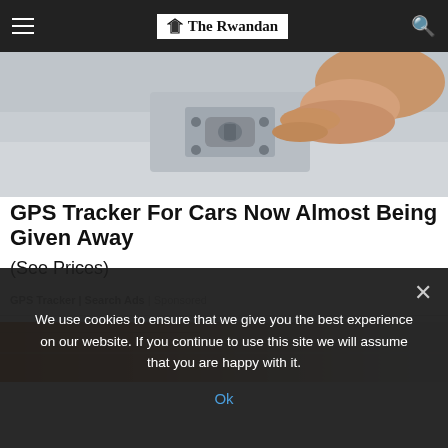The Rwandan
[Figure (photo): Close-up photo of a hand touching a metal latch or GPS tracking device on a white car surface]
GPS Tracker For Cars Now Almost Being Given Away
(See Prices)
GPS Tracker | Search Ads | Sponsored
[Figure (photo): Partial view of a second advertisement image with brown/tan background]
We use cookies to ensure that we give you the best experience on our website. If you continue to use this site we will assume that you are happy with it.
Ok